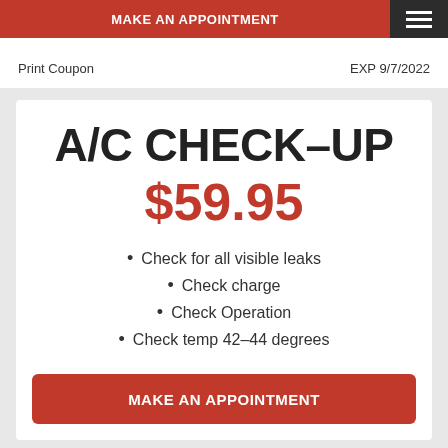MAKE AN APPOINTMENT
Print Coupon	EXP 9/7/2022
A/C CHECK-UP $59.95
Check for all visible leaks
Check charge
Check Operation
Check temp 42-44 degrees
MAKE AN APPOINTMENT